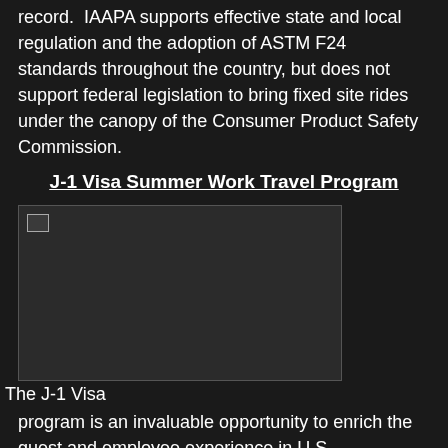record.  IAAPA supports effective state and local regulation and the adoption of ASTM F24 standards throughout the country, but does not support federal legislation to bring fixed site rides under the canopy of the Consumer Product Safety Commission.
J-1 Visa Summer Work Travel Program
[Figure (photo): A photo placeholder image related to the J-1 Visa Summer Work Travel Program]
The J-1 Visa program is an invaluable opportunity to enrich the guest and employee experience in U.S. amusement parks and entertainment facilities.  It brings high quality employees from all over the world to our facilities to provide them with exposure to the cultural and social fabric of the United States.  The program is sponsored by the U.S. State